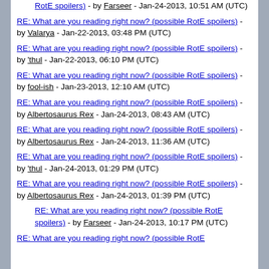RotE spoilers) - by Farseer - Jan-24-2013, 10:51 AM (UTC)
RE: What are you reading right now? (possible RotE spoilers) - by Valarya - Jan-22-2013, 03:48 PM (UTC)
RE: What are you reading right now? (possible RotE spoilers) - by 'thul - Jan-22-2013, 06:10 PM (UTC)
RE: What are you reading right now? (possible RotE spoilers) - by fool-ish - Jan-23-2013, 12:10 AM (UTC)
RE: What are you reading right now? (possible RotE spoilers) - by Albertosaurus Rex - Jan-24-2013, 08:43 AM (UTC)
RE: What are you reading right now? (possible RotE spoilers) - by Albertosaurus Rex - Jan-24-2013, 11:36 AM (UTC)
RE: What are you reading right now? (possible RotE spoilers) - by 'thul - Jan-24-2013, 01:29 PM (UTC)
RE: What are you reading right now? (possible RotE spoilers) - by Albertosaurus Rex - Jan-24-2013, 01:39 PM (UTC)
RE: What are you reading right now? (possible RotE spoilers) - by Farseer - Jan-24-2013, 10:17 PM (UTC)
RE: What are you reading right now? (possible RotE spoilers